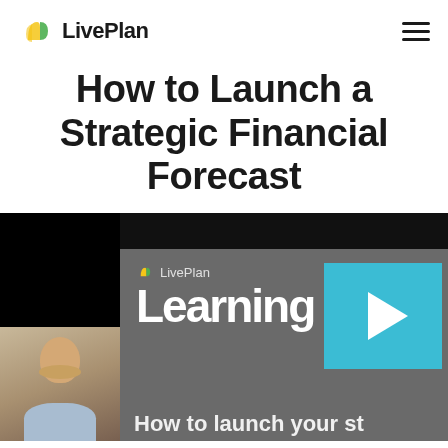LivePlan
How to Launch a Strategic Financial Forecast
[Figure (screenshot): Video thumbnail showing a LivePlan Learning webinar with a presenter in the lower left, the LivePlan logo and 'Learning' text in the video, a blue play button overlay, and partial text 'How to launch your st...' at the bottom]